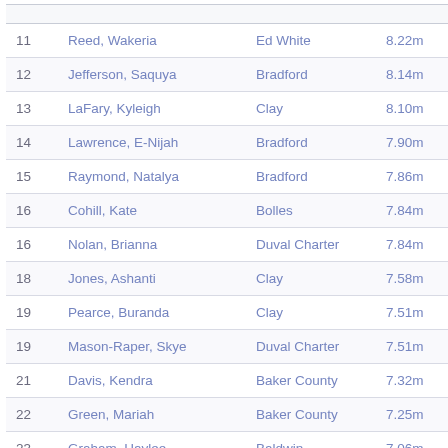|  |  |  |  |
| --- | --- | --- | --- |
| 11 | Reed, Wakeria | Ed White | 8.22m |
| 12 | Jefferson, Saquya | Bradford | 8.14m |
| 13 | LaFary, Kyleigh | Clay | 8.10m |
| 14 | Lawrence, E-Nijah | Bradford | 7.90m |
| 15 | Raymond, Natalya | Bradford | 7.86m |
| 16 | Cohill, Kate | Bolles | 7.84m |
| 16 | Nolan, Brianna | Duval Charter | 7.84m |
| 18 | Jones, Ashanti | Clay | 7.58m |
| 19 | Pearce, Buranda | Clay | 7.51m |
| 19 | Mason-Raper, Skye | Duval Charter | 7.51m |
| 21 | Davis, Kendra | Baker County | 7.32m |
| 22 | Green, Mariah | Baker County | 7.25m |
| 23 | Graham, Haylee | Baldwin | 7.06m |